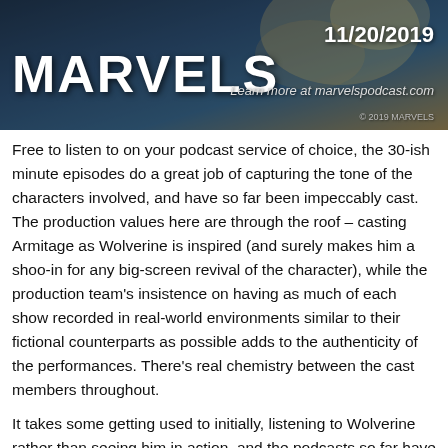[Figure (illustration): Banner image for 'Marvels' podcast with date 11/20/2019 and URL marvelspodcast.com, showing bold white MARVELS title text on a dark cinematic background.]
Free to listen to on your podcast service of choice, the 30-ish minute episodes do a great job of capturing the tone of the characters involved, and have so far been impeccably cast. The production values here are through the roof – casting Armitage as Wolverine is inspired (and surely makes him a shoo-in for any big-screen revival of the character), while the production team's insistence on having as much of each show recorded in real-world environments similar to their fictional counterparts as possible adds to the authenticity of the performances. There's real chemistry between the cast members throughout.
It takes some getting used to initially, listening to Wolverine rather than seeing him in action, and the podcasts so far have been of a slightly slower, more introspective pace than the bombastic action of the comics and movies. But they're great character studies, and show the flexibility and depth that years of Marvel storytelling has given these fan-favourite characters with